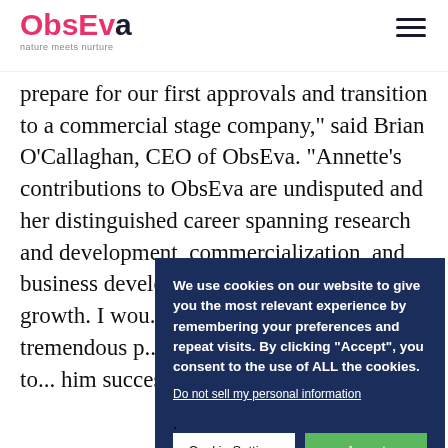ObsEva — nature meets nurture
prepare for our first approvals and transition to a commercial stage company," said Brian O'Callaghan, CEO of ObsEva. "Annette's contributions to ObsEva are undisputed and her distinguished career spanning research and development, commercialization, and business development... position ObsE... growth. I wou... for his years o... tremendous p... positions Obs... testament to... him success i...
We use cookies on our website to give you the most relevant experience by remembering your preferences and repeat visits. By clicking "Accept", you consent to the use of ALL the cookies.
Do not sell my personal information.